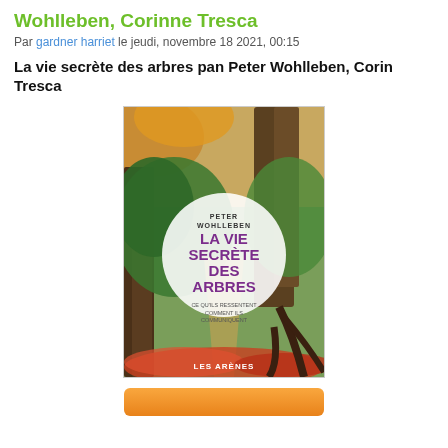Wohlleben, Corinne Tresca
Par gardner harriet le jeudi, novembre 18 2021, 00:15
La vie secrète des arbres pan Peter Wohlleben, Corinne Tresca
[Figure (photo): Book cover of 'La vie secrète des arbres' by Peter Wohlleben, published by Les Arènes. Shows a forest path with large beech trees and autumn leaves, with the title in purple text on a white circular area.]
[Figure (other): Orange/gradient button at the bottom of the page]